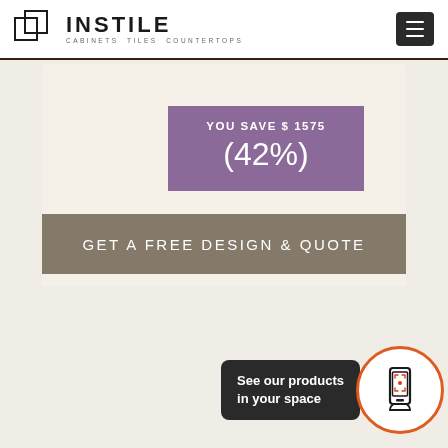INSTILE CABINETS TILES COUNTERTOPS
[Figure (infographic): Savings badge showing YOU SAVE $ 1575 (42%) on purple/mauve background within a beige content box]
YOU SAVE $ 1575 (42%)
GET A FREE DESIGN & QUOTE
[Figure (infographic): AR product viewer widget with phone icon in orange-bordered circle and text 'See our products in your space']